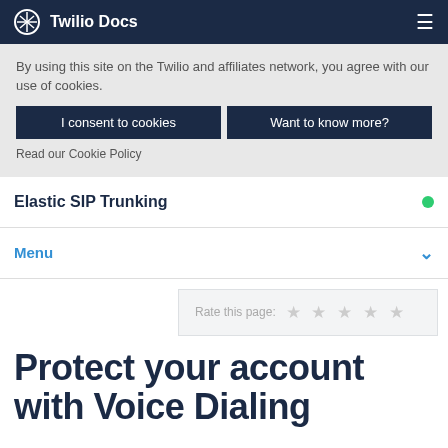Twilio Docs
By using this site on the Twilio and affiliates network, you agree with our use of cookies.
I consent to cookies | Want to know more?
Read our Cookie Policy
Elastic SIP Trunking
Menu
Rate this page: ★ ★ ★ ★ ★
Protect your account with Voice Dialing